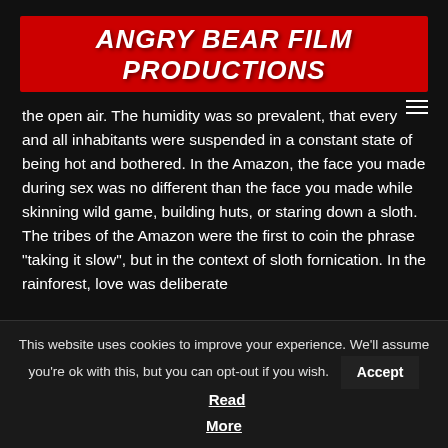Angry Bear Film Productions
the open air.  The humidity was so prevalent, that every and all inhabitants were suspended in a constant state of being hot and bothered.  In the Amazon, the face you made during sex was no different than the face you made while skinning wild game, building huts, or staring down a sloth.  The tribes of the Amazon were the first to coin the phrase “taking it slow”, but in the context of sloth fornication.  In the rainforest, love was deliberate
This website uses cookies to improve your experience. We'll assume you're ok with this, but you can opt-out if you wish.  Accept  Read More